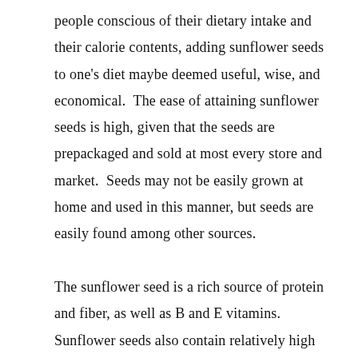people conscious of their dietary intake and their calorie contents, adding sunflower seeds to one's diet maybe deemed useful, wise, and economical. The ease of attaining sunflower seeds is high, given that the seeds are prepackaged and sold at most every store and market. Seeds may not be easily grown at home and used in this manner, but seeds are easily found among other sources.

The sunflower seed is a rich source of protein and fiber, as well as B and E vitamins. Sunflower seeds also contain relatively high levels of magnesium, phosphorus, zinc and iron. Those who are conscious of their health and are attempting to modernize their